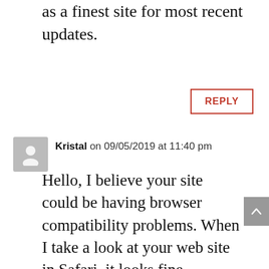as a finest site for most recent updates.
REPLY
Kristal on 09/05/2019 at 11:40 pm
Hello, I believe your site could be having browser compatibility problems. When I take a look at your web site in Safari, it looks fine however, if opening in I.E., it has some overlapping issues.